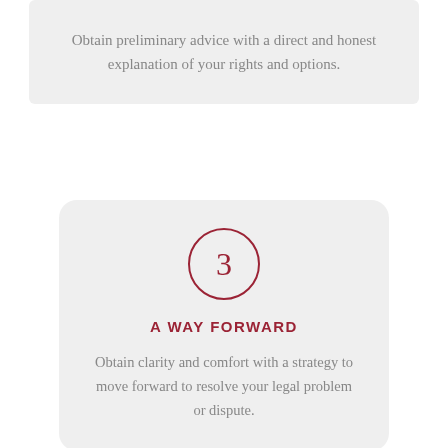Obtain preliminary advice with a direct and honest explanation of your rights and options.
[Figure (infographic): Step 3 card with a circle containing the number 3, a title 'A WAY FORWARD', and descriptive text below]
A WAY FORWARD
Obtain clarity and comfort with a strategy to move forward to resolve your legal problem or dispute.